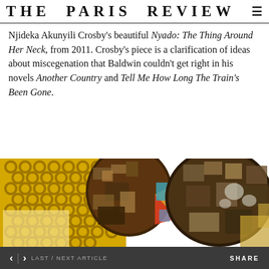THE PARIS REVIEW
Njideka Akunyili Crosby’s beautiful Nyado: The Thing Around Her Neck, from 2011. Crosby’s piece is a clarification of ideas about miscegenation that Baldwin couldn’t get right in his novels Another Country and Tell Me How Long The Train’s Been Gone.
[Figure (photo): Detail of Njideka Akunyili Crosby’s artwork Nyado: The Thing Around Her Neck (2011). The painting shows two figures facing each other, with richly textured collage elements. The background features a yellow pattern of circles/rings. The figures are composed of layered collaged photographic imagery in brown and golden tones, with colorful geometric shapes visible between them.]
< | > LAST / NEXT ARTICLE    SHARE